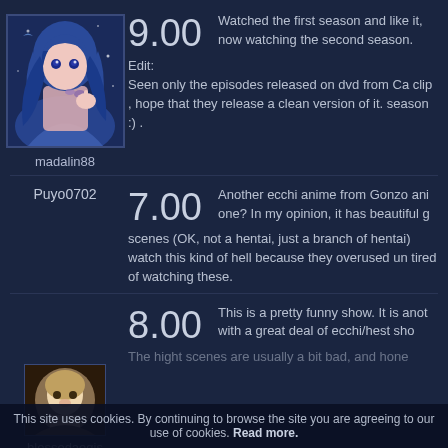[Figure (illustration): Anime avatar image of a blue-haired female character]
madalin88
9.00
Watched the first season and like it, now watching the second season.
Edit:
Seen only the episodes released on dvd from Ca clip , hope that they release a clean version of it. season :) .
Puyo0702
7.00
Another ecchi anime from Gonzo ani one? In my opinion, it has beautiful g scenes (OK, not a hentai, just a branch of hentai) watch this kind of hell because they overused un tired of watching these.
[Figure (illustration): Anime avatar thumbnail of a light-haired character]
blessedaegis
8.00
This is a pretty funny show. It is anot with a great deal of ecchi/hest sho The hight scenes are usually a bit bad, and hone
This site uses cookies. By continuing to browse the site you are agreeing to our use of cookies. Read more.